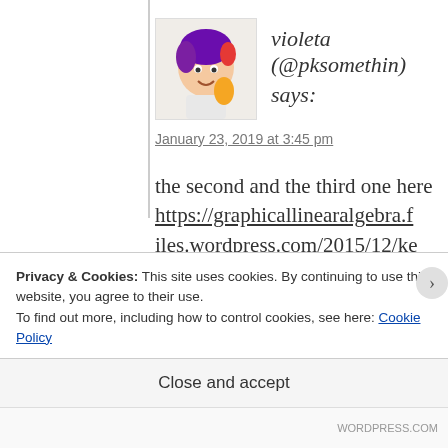[Figure (illustration): Small avatar image of a cartoon character with purple hair]
violeta (@pksomethin) says:
January 23, 2019 at 3:45 pm
the second and the third one here https://graphicallinearalgebra.files.wordpress.com/2015/12/kernellem2.gif
Privacy & Cookies: This site uses cookies. By continuing to use this website, you agree to their use.
To find out more, including how to control cookies, see here: Cookie Policy
Close and accept